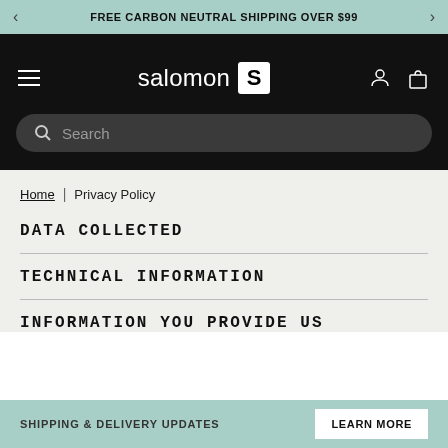FREE CARBON NEUTRAL SHIPPING OVER $99
[Figure (screenshot): Salomon brand navigation bar with hamburger menu, Salomon logo with S icon, user account icon, and shopping bag icon on black background with search bar below]
Home | Privacy Policy
DATA COLLECTED
TECHNICAL INFORMATION
INFORMATION YOU PROVIDE US
SHIPPING & DELIVERY UPDATES   LEARN MORE